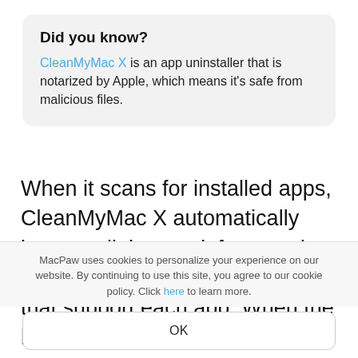Did you know?
CleanMyMac X is an app uninstaller that is notarized by Apple, which means it's safe from malicious files.
When it scans for installed apps, CleanMyMac X automatically locates all the app leftovers, the data caches, and associated files that support each app. When the list gives a number for how
MacPaw uses cookies to personalize your experience on our website. By continuing to use this site, you agree to our cookie policy. Click here to learn more.
OK